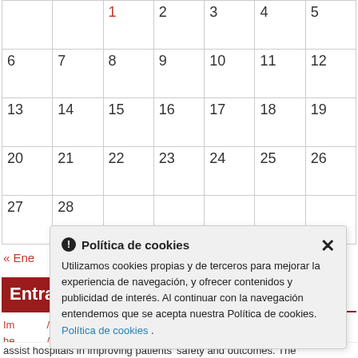|  |  | 1 | 2 | 3 | 4 | 5 |
| 6 | 7 | 8 | 9 | 10 | 11 | 12 |
| 13 | 14 | 15 | 16 | 17 | 18 | 19 |
| 20 | 21 | 22 | 23 | 24 | 25 | 26 |
| 27 | 28 |  |  |  |  |  |
« Ene   Mar »
Entradas recientes
Im... he... co... bli...
[Figure (screenshot): Cookie policy popup overlay with title 'Política de cookies', close button X, body text about using cookies, and a link 'Política de cookies'.]
assist hospitals in improving patients' safety and outcomes. The